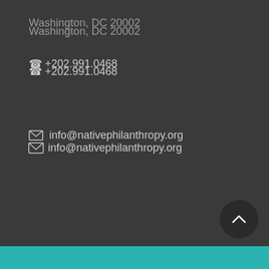Washington, DC 20002
📞 +202.991.0468
✉ info@nativephilanthropy.org
[Figure (other): JOIN button — rounded rectangle, teal background, white bold uppercase text 'JOIN']
[Figure (other): DONATE button — rounded rectangle, muted rose/burgundy background, white bold uppercase text 'DONATE']
[Figure (other): Scroll-to-top button — dark circle with upward chevron arrow, positioned bottom-right]